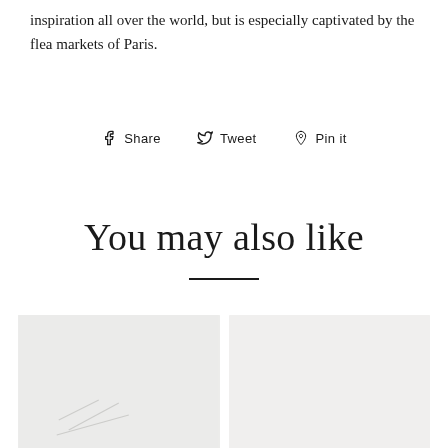inspiration all over the world, but is especially captivated by the flea markets of Paris.
f Share   🐦 Tweet   ℗ Pin it
You may also like
[Figure (photo): Two product image placeholders side by side in light gray boxes]